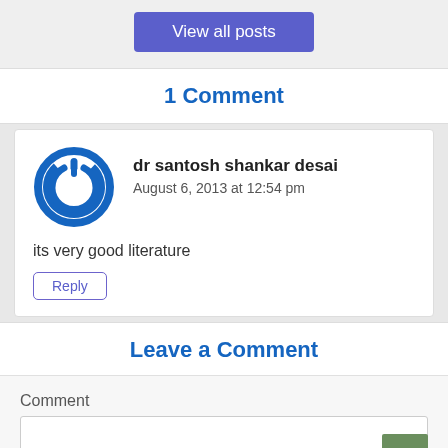View all posts
1 Comment
dr santosh shankar desai
August 6, 2013 at 12:54 pm
its very good literature
Reply
Leave a Comment
Comment